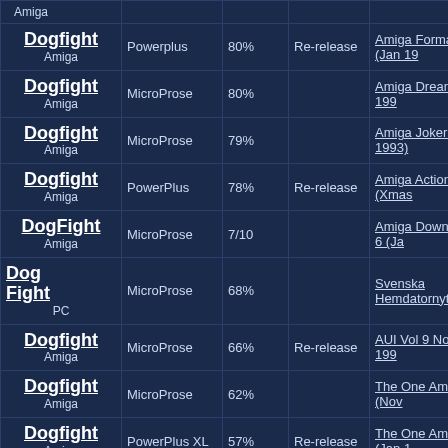| Game | Publisher | Score | Type | Review |
| --- | --- | --- | --- | --- |
| Dogfight / Amiga | Powerplus | 80% | Re-release | Amiga Format 67 (Jan 19... |
| Dogfight / Amiga | MicroProse | 80% |  | Amiga Dream 1 (Nov 199... |
| Dogfight / Amiga | MicroProse | 79% |  | Amiga Joker (Nov 1993) |
| Dogfight / Amiga | PowerPlus | 78% | Re-release | Amiga Action 65 (Xmas ... |
| DogFight / Amiga | MicroProse | 7/10 |  | Amiga Down Under 6 (Ja... |
| Dog Fight / PC | MicroProse | 68% |  | Svenska Hemdatornytt Vo... |
| Dogfight / Amiga | MicroProse | 66% | Re-release | AUI Vol 9 No 1 (Jan 199... |
| Dogfight / Amiga | MicroProse | 62% |  | The One Amiga 62 (Nov ... |
| Dogfight / Amiga | PowerPlus XL | 57% | Re-release | The One Amiga 76 (Jan 1... |
| Dog Fight / ... | MicroProse | 48% |  | Amiga Force 13 (Xmas 1... |